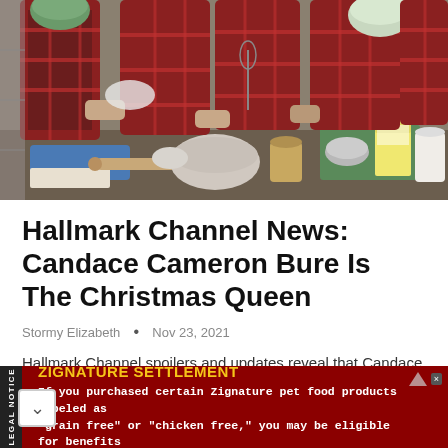[Figure (photo): Children in plaid aprons baking/cooking together at a kitchen counter, with mixing bowls, rolling pin, ingredients including what appears to be flour, milk carton, and other baking supplies. The children are wearing matching plaid outfits.]
Hallmark Channel News: Candace Cameron Bure Is The Christmas Queen
Stormy Elizabeth • Nov 23, 2021
Hallmark Channel spoilers and updates reveal that Candace Cameron Bure feels that there is a lot of pressure on her when it comes to her Christmas queen
ZIGNATURE SETTLEMENT
If you purchased certain Zignature pet food products labeled as "grain free" or "chicken free," you may be eligible for benefits